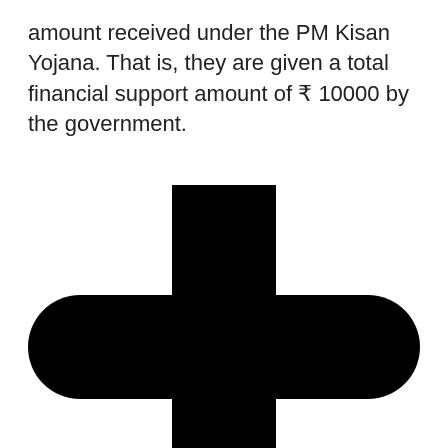amount received under the PM Kisan Yojana. That is, they are given a total financial support amount of ₹ 10000 by the government.
[Figure (illustration): A large black plus/cross symbol with rounded ends on all four arms, centered in the lower portion of the page. The symbol extends to the bottom edge of the page.]